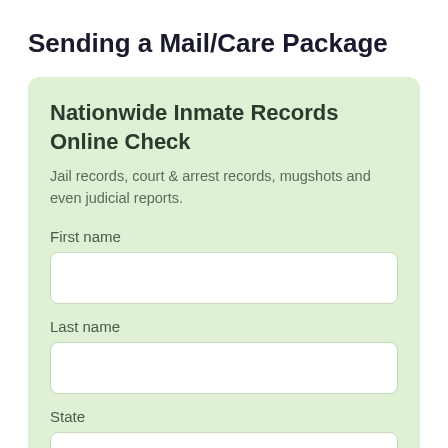Sending a Mail/Care Package
Nationwide Inmate Records Online Check
Jail records, court & arrest records, mugshots and even judicial reports.
First name
Last name
State
Pennsylvania